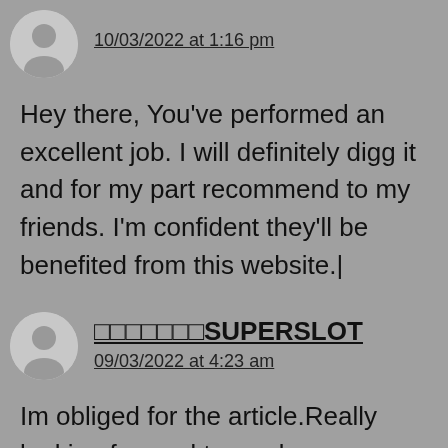10/03/2022 at 1:16 pm
Hey there, You've performed an excellent job. I will definitely digg it and for my part recommend to my friends. I'm confident they'll be benefited from this website.|
superslotSUPERSLOT
09/03/2022 at 4:23 am
Im obliged for the article.Really looking forward to read more. Fantastic.